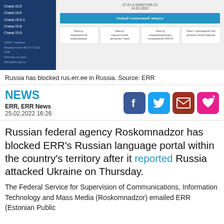[Figure (screenshot): Screenshot of a Russian government registry website (Roskomnadzor) showing a sidebar menu with Cyrillic navigation links on a dark blue background, a search interface with a blue button labeled 'Новый поисковый запрос', and a grid of registry category links at the bottom.]
Russia has blocked rus.err.ee in Russia. Source: ERR
NEWS
ERR, ERR News
25.02.2022 16:26
Russian federal agency Roskomnadzor has blocked ERR's Russian language portal within the country's territory after it reported Russia attacked Ukraine on Thursday.
The Federal Service for Supervision of Communications, Information Technology and Mass Media (Roskomnadzor) emailed ERR (Estonian Public